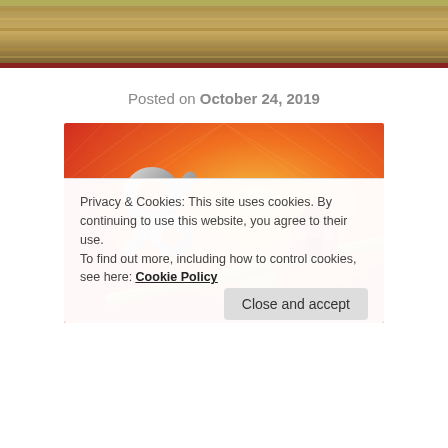[Figure (photo): Top banner photo showing stacked books/wooden planks with warm tones, with a dark red horizontal rule below]
Posted on October 24, 2019
[Figure (illustration): 3D illustration on an orange-to-yellow gradient background showing a metallic percent sign on the left side of a wooden seesaw/balance beam, with a red house model on the right side. The percent sign weighs down the left side.]
Privacy & Cookies: This site uses cookies. By continuing to use this website, you agree to their use.
To find out more, including how to control cookies, see here: Cookie Policy
Close and accept